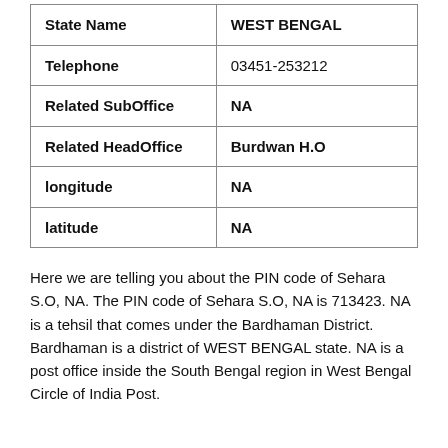| Field | Value |
| --- | --- |
| State Name | WEST BENGAL |
| Telephone | 03451-253212 |
| Related SubOffice | NA |
| Related HeadOffice | Burdwan H.O |
| longitude | NA |
| latitude | NA |
Here we are telling you about the PIN code of Sehara S.O, NA. The PIN code of Sehara S.O, NA is 713423. NA is a tehsil that comes under the Bardhaman District. Bardhaman is a district of WEST BENGAL state. NA is a post office inside the South Bengal region in West Bengal Circle of India Post.